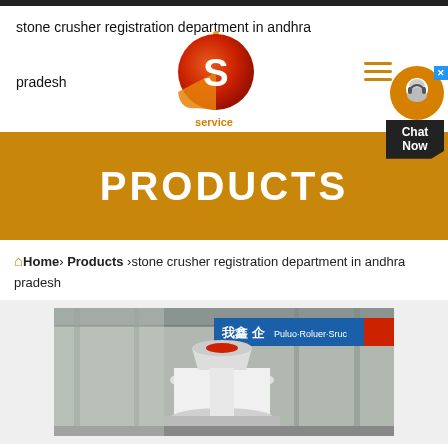stone crusher registration department in andhra pradesh
[Figure (logo): Orange/red circular logo with white S letter and bubbles, with text 'service' below]
[Figure (infographic): Hamburger menu icon with three orange horizontal lines]
[Figure (infographic): Chat Now widget with headset icon and dark polygon button]
PRODUCTS
Home > Products > stone crusher registration department in andhra pradesh
[Figure (photo): Industrial stone crusher machine in a factory/warehouse setting with Chinese banner text visible in background]